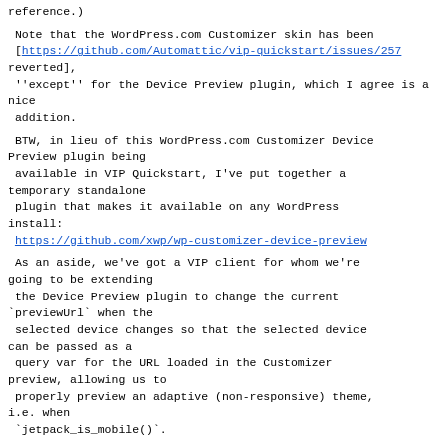(reference.)
Note that the WordPress.com Customizer skin has been [https://github.com/Automattic/vip-quickstart/issues/257 reverted],
 ''except'' for the Device Preview plugin, which I agree is a nice
 addition.
BTW, in lieu of this WordPress.com Customizer Device Preview plugin being
 available in VIP Quickstart, I've put together a temporary standalone
 plugin that makes it available on any WordPress install:
 https://github.com/xwp/wp-customizer-device-preview
As an aside, we've got a VIP client for whom we're going to be extending
 the Device Preview plugin to change the current `previewUrl` when the
 selected device changes so that the selected device can be passed as a
 query var for the URL loaded in the Customizer preview, allowing us to
 properly preview an adaptive (non-responsive) theme, i.e. when
 `jetpack_is_mobile()`.
Any device preview functionality added to the